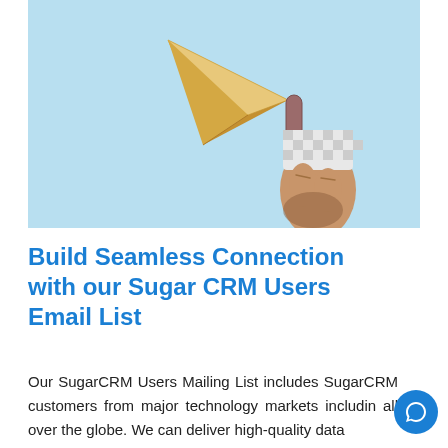[Figure (illustration): 3D illustration of a hand holding a paper airplane (yellow/gold colored triangular paper plane) with a magnifying glass or stick handle against a light blue background. The hand appears to be wearing a checkered sleeve.]
Build Seamless Connection with our Sugar CRM Users Email List
Our SugarCRM Users Mailing List includes SugarCRM customers from major technology markets including all over the globe. We can deliver high-quality data